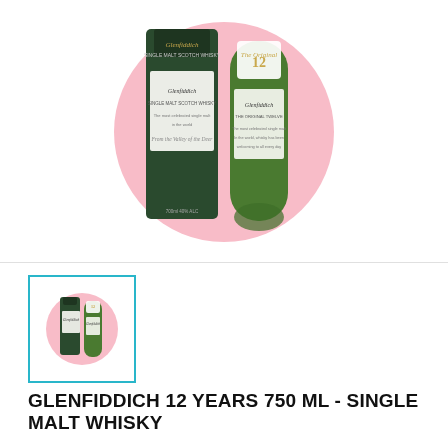[Figure (photo): Two Glenfiddich 12 Year Single Malt Scotch Whisky bottles (one with dark green cylindrical box, one green bottle) displayed against a pink circle on a white background.]
[Figure (photo): Thumbnail image of two Glenfiddich 12 Year bottles with pink circle background, selected with cyan/teal border.]
GLENFIDDICH 12 YEARS 750 ML - SINGLE MALT WHISKY
₵44,480.00
No tax
Matured with extreme care in American bourbon and Spanish sherry barrels for at least 12 years. Paired and